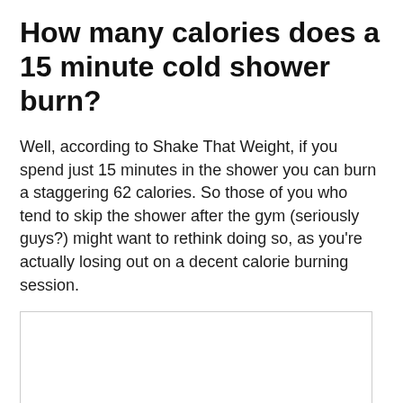How many calories does a 15 minute cold shower burn?
Well, according to Shake That Weight, if you spend just 15 minutes in the shower you can burn a staggering 62 calories. So those of you who tend to skip the shower after the gym (seriously guys?) might want to rethink doing so, as you're actually losing out on a decent calorie burning session.
[Figure (other): Empty bordered box, likely placeholder for an image.]